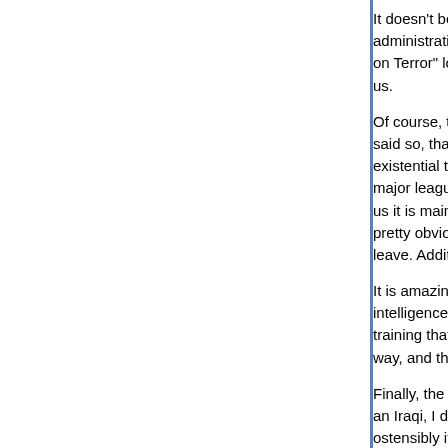It doesn't bear repeating because it is only half tr... administration that declared Iraq as the central fro... on Terror" long before al Qaeda declared it as the... us.
Of course, that has only allowed the administratio... said so, that makes it so. Another ridiculous attitu... existential threat to the US, since AQI is at best a... major league club, since the Kagans (wow what g... us it is mainly Iraqis, why should we care what al... pretty obvious that AQI would probably have a pre... leave. Additionally, there would be far fewer recru...
It is amazing how the "central front" has, by the e... intelligence community, tripled the size of al Qaed... training that will prove invaluable to them which th... way, and the only solutuion is to keep doing the s...
Finally, the meeting with the agreement is probab... an Iraqi, I definitely would not wnat the oil legislat... ostensibly it provides for equitable sharing) its ma... has control of the oil.
Bit, to finish on an up note, both this post and CB'... balanced and fairer than anything he has written i...